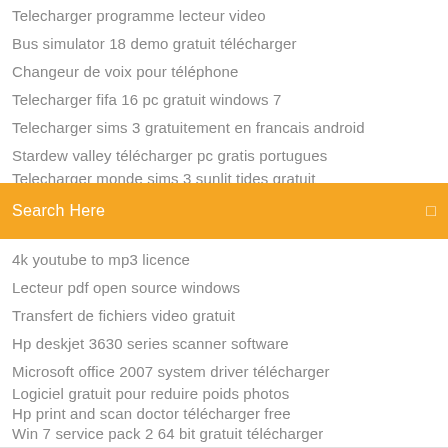Telecharger programme lecteur video
Bus simulator 18 demo gratuit télécharger
Changeur de voix pour téléphone
Telecharger fifa 16 pc gratuit windows 7
Telecharger sims 3 gratuitement en francais android
Stardew valley télécharger pc gratis portugues
Telecharger monde sims 3 sunlit tides gratuit
[Figure (screenshot): Orange search bar with 'Search Here' placeholder text and a small icon on the right]
4k youtube to mp3 licence
Lecteur pdf open source windows
Transfert de fichiers video gratuit
Hp deskjet 3630 series scanner software
Microsoft office 2007 system driver télécharger
Logiciel gratuit pour reduire poids photos
Hp print and scan doctor télécharger free
Win 7 service pack 2 64 bit gratuit télécharger
Écran de veille windows 7 gratuit aquarium